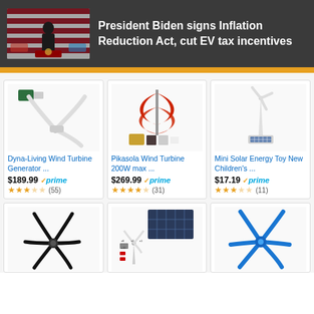[Figure (photo): News banner showing President Biden at a podium with American flags, dark background]
President Biden signs Inflation Reduction Act, cut EV tax incentives
[Figure (photo): Dyna-Living Wind Turbine Generator product image - white 3-blade horizontal wind turbine with controller]
Dyna-Living Wind Turbine Generator ...
$189.99 ✓prime
★★★☆☆ (55)
[Figure (photo): Pikasola Wind Turbine 200W max - red vertical axis wind turbine with controller]
Pikasola Wind Turbine 200W max ...
$269.99 ✓prime
★★★★☆ (31)
[Figure (photo): Mini Solar Energy Toy New Children's wind turbine toy model]
Mini Solar Energy Toy New Children's ...
$17.19 ✓prime
★★★☆☆ (11)
[Figure (photo): Black 6-blade horizontal wind turbine]
[Figure (photo): Wind turbine kit with solar panel and accessories]
[Figure (photo): Blue 6-blade horizontal wind turbine]